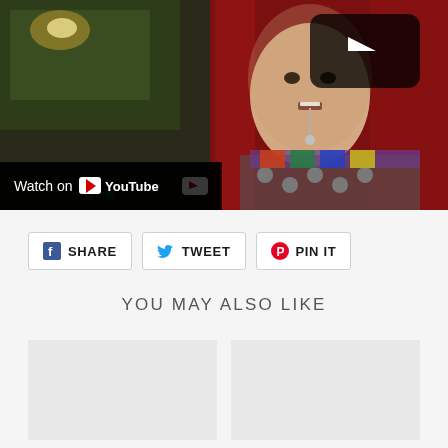[Figure (screenshot): YouTube video thumbnail showing a person in a decorative costume with red fabric, small bells, and a colorful bar-like venue background. A YouTube play button overlay is visible in the upper right. A 'Watch on YouTube' bar is at the bottom left of the video.]
SHARE
TWEET
PIN IT
YOU MAY ALSO LIKE
[Figure (photo): Placeholder product image card (light gray)]
[Figure (photo): Placeholder product image card (light gray)]